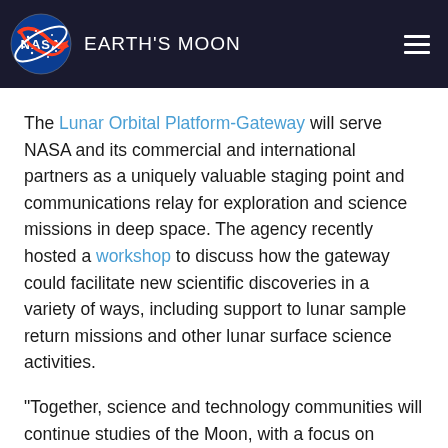NASA EARTH'S MOON
The Lunar Orbital Platform-Gateway will serve NASA and its commercial and international partners as a uniquely valuable staging point and communications relay for exploration and science missions in deep space. The agency recently hosted a workshop to discuss how the gateway could facilitate new scientific discoveries in a variety of ways, including support to lunar sample return missions and other lunar surface science activities.
“Together, science and technology communities will continue studies of the Moon, with a focus on identifying the lunar resources important for exploration to our Earth companion and into the